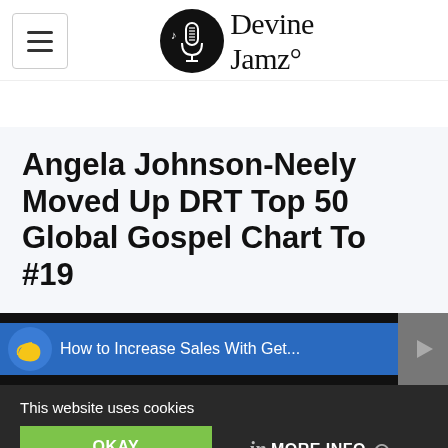[Figure (logo): Devine Jamz logo with microphone icon in black circle and stylized text 'Devine Jamz']
Angela Johnson-Neely Moved Up DRT Top 50 Global Gospel Chart To #19
[Figure (screenshot): Video bar showing 'How to Increase Sales With Get...' with banana logo icon on blue background]
This website uses cookies
OKAY
MORE INFO